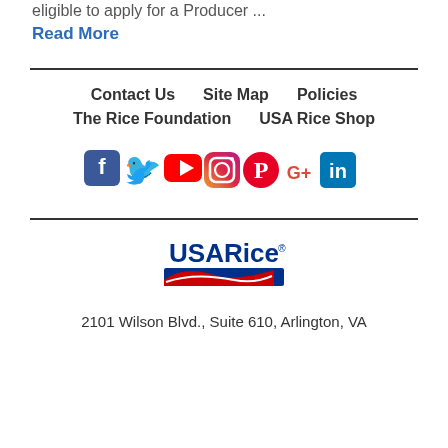eligible to apply for a Producer ...
Read More
Contact Us   Site Map   Policies
The Rice Foundation   USA Rice Shop
[Figure (infographic): Social media icons: Facebook, Twitter, YouTube, Instagram, Pinterest, Google+, LinkedIn]
[Figure (logo): USA Rice logo with blue text and red/navy swoosh graphic]
2101 Wilson Blvd., Suite 610, Arlington, VA